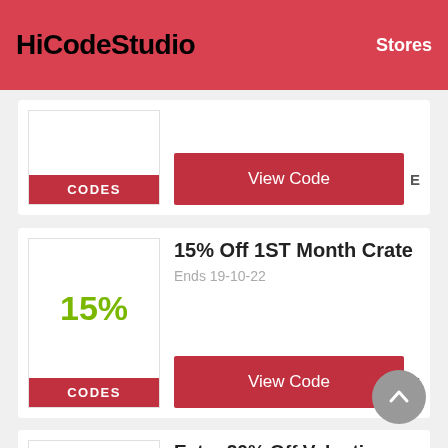HiCodeStudio   Stores
CODES
View Code  E
15% Off 1ST Month Crate
Ends 19-10-22
15%
CODES
View Code  E
Extra 20% Off Valentine Day Sale At Lootcrate.com